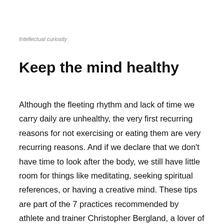Intellectual curiosity
Keep the mind healthy
Although the fleeting rhythm and lack of time we carry daily are unhealthy, the very first recurring reasons for not exercising or eating them are very recurring reasons. And if we declare that we don’t have time to look after the body, we still have little room for things like meditating, seeking spiritual references, or having a creative mind. These tips are part of the 7 practices recommended by athlete and trainer Christopher Bergland, a lover of intense competitions, and the distance he covers on a treadmill for 24 hours (247.45 km) is no less than the Guinness record.